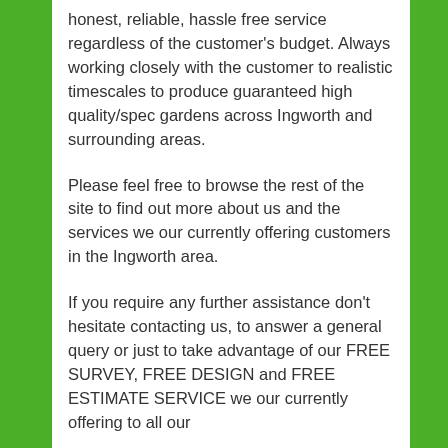honest, reliable, hassle free service regardless of the customer's budget. Always working closely with the customer to realistic timescales to produce guaranteed high quality/spec gardens across Ingworth and surrounding areas.
Please feel free to browse the rest of the site to find out more about us and the services we our currently offering customers in the Ingworth area.
If you require any further assistance don't hesitate contacting us, to answer a general query or just to take advantage of our FREE SURVEY, FREE DESIGN and FREE ESTIMATE SERVICE we our currently offering to all our